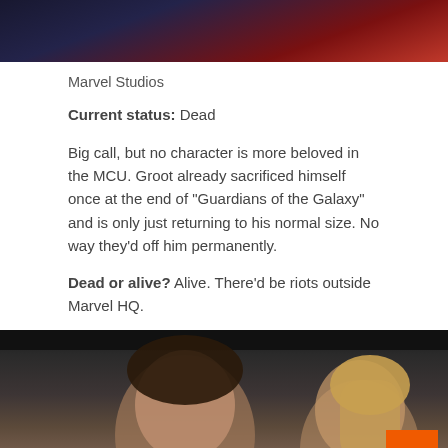[Figure (photo): Top portion of a photo showing a dark background with red tones, likely a Marvel character]
Marvel Studios
Current status: Dead
Big call, but no character is more beloved in the MCU. Groot already sacrificed himself once at the end of “Guardians of the Galaxy” and is only just returning to his normal size. No way they’d off him permanently.
Dead or alive? Alive. There’d be riots outside Marvel HQ.
[Figure (photo): Photo of two people, a man in a suit and a woman with blonde hair in a ponytail, from a Marvel film]